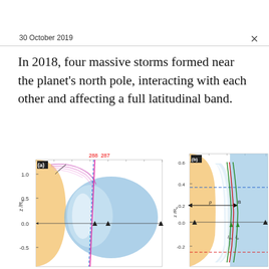30 October 2019
In 2018, four massive storms formed near the planet's north pole, interacting with each other and affecting a full latitudinal band.
[Figure (continuous-plot): Panel (a): Scientific diagram showing z/Rs on y-axis (range -0.5 to 1.0+), with orange and blue regions representing planetary zones, pink/purple curved lines near top, black arrows, a magenta/pink diagonal line, and numbers 288 and 287 in red at top. Blue oval shape in center-right area.]
[Figure (continuous-plot): Panel (b): Scientific diagram showing z/Rs on y-axis (range -0.2 to 0.6), with orange left region and blue right region, white/grey band in middle, blue dashed horizontal line at ~0.35, black horizontal arrow at ~0.2 labeled B, green and red curves, labels I_in and I_o, and red dashed line at bottom.]